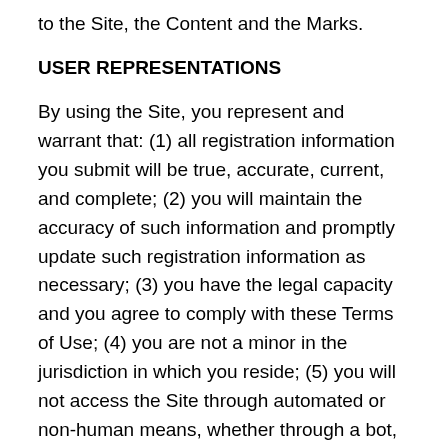to the Site, the Content and the Marks.
USER REPRESENTATIONS
By using the Site, you represent and warrant that: (1) all registration information you submit will be true, accurate, current, and complete; (2) you will maintain the accuracy of such information and promptly update such registration information as necessary; (3) you have the legal capacity and you agree to comply with these Terms of Use; (4) you are not a minor in the jurisdiction in which you reside; (5) you will not access the Site through automated or non-human means, whether through a bot, script or otherwise; (6) you will not use the Site for any illegal or unauthorized purpose; and (7) your use of the Site will not violate any applicable law or regulation.